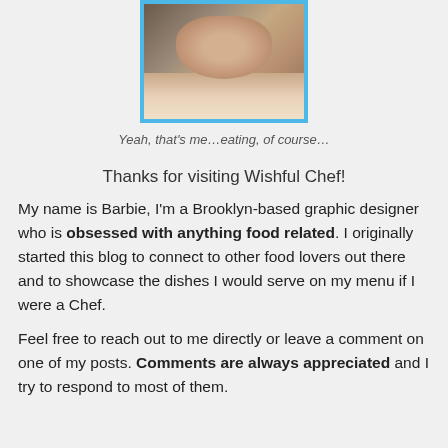[Figure (photo): Photo of Barbie as a baby or young child, eating, with a blue border frame]
Yeah, that's me…eating, of course…
Thanks for visiting Wishful Chef!
My name is Barbie, I'm a Brooklyn-based graphic designer who is obsessed with anything food related. I originally started this blog to connect to other food lovers out there and to showcase the dishes I would serve on my menu if I were a Chef.
Feel free to reach out to me directly or leave a comment on one of my posts. Comments are always appreciated and I try to respond to most of them.